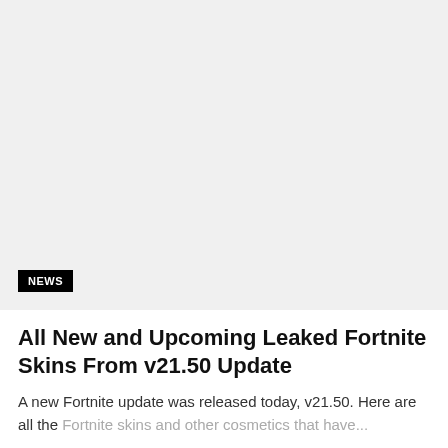[Figure (photo): Large placeholder/image area with light gray background, representing a Fortnite article hero image with a NEWS badge overlay in the lower left corner]
All New and Upcoming Leaked Fortnite Skins From v21.50 Update
A new Fortnite update was released today, v21.50. Here are all the Fortnite skins and other cosmetics that have...
BY YOUSEF SAIFI  AUGUST 30, 2022